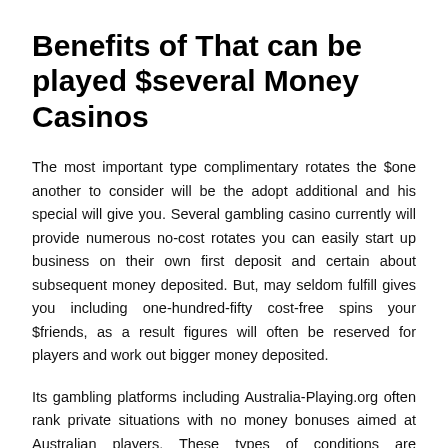Benefits of That can be played $several Money Casinos
The most important type complimentary rotates the $one another to consider will be the adopt additional and his special will give you. Several gambling casino currently will provide numerous no-cost rotates you can easily start up business on their own first deposit and certain about subsequent money deposited. But, may seldom fulfill gives you including one-hundred-fifty cost-free spins your $friends, as a result figures will often be reserved for players and work out bigger money deposited.
Its gambling platforms including Australia-Playing.org often rank private situations with no money bonuses aimed at Australian players. These types of conditions are occasionally superior to normal type entirely on most casinos, because of